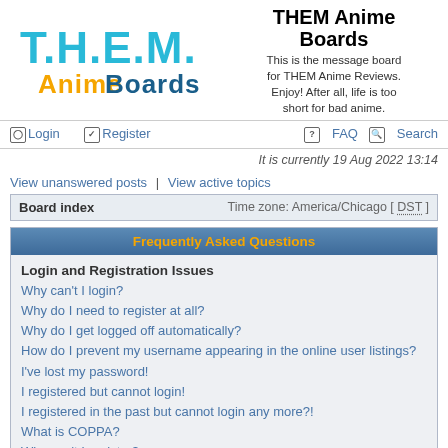[Figure (logo): T.H.E.M. Anime Boards logo with colorful lettering]
THEM Anime Boards
This is the message board for THEM Anime Reviews. Enjoy! After all, life is too short for bad anime.
Login  Register  FAQ  Search
It is currently 19 Aug 2022 13:14
View unanswered posts | View active topics
Board index  Time zone: America/Chicago [ DST ]
Frequently Asked Questions
Login and Registration Issues
Why can't I login?
Why do I need to register at all?
Why do I get logged off automatically?
How do I prevent my username appearing in the online user listings?
I've lost my password!
I registered but cannot login!
I registered in the past but cannot login any more?!
What is COPPA?
Why can't I register?
What does the “Delete all board cookies” do?
User Preferences and settings
How do I change my settings?